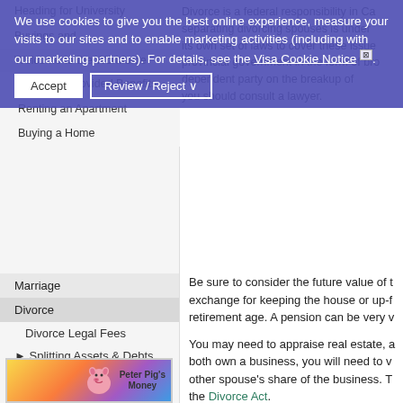Cookie banner: We use cookies to give you the best online experience, measure your visits to our sites and to enable marketing activities (including with our marketing partners). For details, see the Visa Cookie Notice. [Accept] [Review / Reject]
Heading for University
Buyings and
Welcome to the Workforce
Employer Provided Benefits
Renting an Apartment
Buying a Home
Marriage
Divorce
Divorce Legal Fees
▸ Splitting Assets & Debts
Divorce and Home Ownership
On Your Own
Parenting
Retirement
Elder Care
Handling the Unexpected
Expert Resources
Practical Money Matters
Divorce is a federal responsibility in Ca separating divorcing spouses is under its own set of laws to cover these issue provincial government in the form of br dependent party on the breakup of you should consult a lawyer.
Be sure to consider the future value of t exchange for keeping the house or up-f retirement age. A pension can be very v
You may need to appraise real estate, a both own a business, you will need to v other spouse's share of the business. T the Divorce Act.
Information You Will Need
Gather your paperwork into one contain you for your first encounters with your la to pay a lawyer to discover this informa
Tax returns for the past five years
Retirement-account records for bot
You and your spouse's paycheque
You and your spouse's employee-b
Copies of all insurance policies, inc
[Figure (illustration): Peter Pig's Money Counter - colorful illustrated box with a cartoon pig and rainbow gradient background]